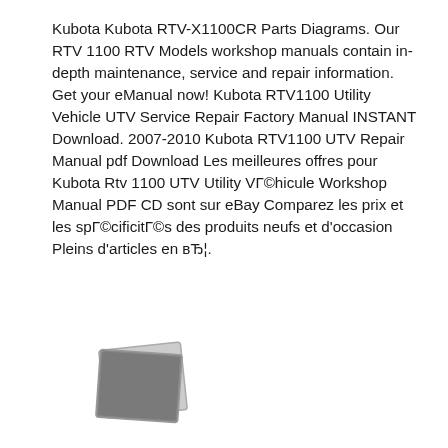Kubota Kubota RTV-X1100CR Parts Diagrams. Our RTV 1100 RTV Models workshop manuals contain in-depth maintenance, service and repair information. Get your eManual now! Kubota RTV1100 Utility Vehicle UTV Service Repair Factory Manual INSTANT Download. 2007-2010 Kubota RTV1100 UTV Repair Manual pdf Download Les meilleures offres pour Kubota Rtv 1100 UTV Utility VГ©hicule Workshop Manual PDF CD sont sur eBay Comparez les prix et les spГ©cificitГ©s des produits neufs et d'occasion Pleins d'articles en вЂ¦.
[Figure (photo): Stacked photo placeholder icon showing two overlapping grey rectangles resembling photograph thumbnails]